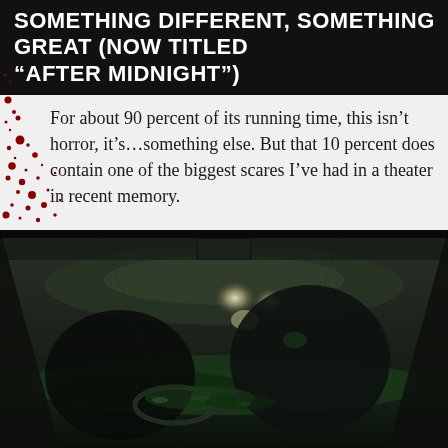SOMETHING DIFFERENT, SOMETHING GREAT (NOW TITLED “AFTER MIDNIGHT”)
For about 90 percent of its running time, this isn’t horror, it’s…something else. But that 10 percent does contain one of the biggest scares I’ve had in a theater in recent memory.
[Figure (photo): Dark cinematic still showing a figure (possibly with a monster/creature) inside a car interior at night, with city lights visible through the windshield. Green tinted dashboard lighting.]